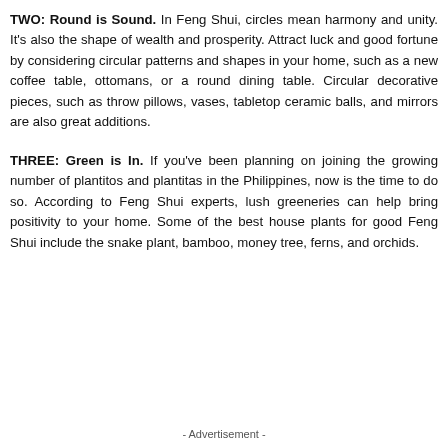TWO: Round is Sound. In Feng Shui, circles mean harmony and unity. It's also the shape of wealth and prosperity. Attract luck and good fortune by considering circular patterns and shapes in your home, such as a new coffee table, ottomans, or a round dining table. Circular decorative pieces, such as throw pillows, vases, tabletop ceramic balls, and mirrors are also great additions.
THREE: Green is In. If you've been planning on joining the growing number of plantitos and plantitas in the Philippines, now is the time to do so. According to Feng Shui experts, lush greeneries can help bring positivity to your home. Some of the best house plants for good Feng Shui include the snake plant, bamboo, money tree, ferns, and orchids.
- Advertisement -